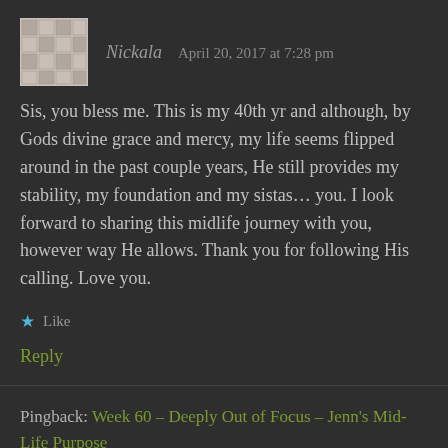[Figure (illustration): Avatar image with a quilted/checkered pattern in gray and white tones]
Nickala   April 20, 2017 at 7:28 pm
Sis, you bless me. This is my 40th yr and although, by Gods divine grace and mercy, my life seems flipped around in the past couple years, He still provides my stability, my foundation and my sistas... you. I look forward to sharing this midlife journey with you, however way He allows. Thank you for following His calling. Love you.
★ Like
Reply
Pingback: Week 60 – Deeply Out of Focus – Jenn's Mid-Life Purpose
Leave a Reply